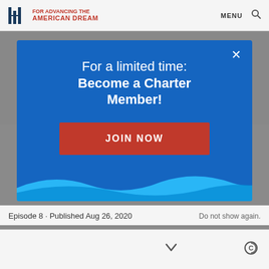for ADVANCING the AMERICAN DREAM | MENU
[Figure (screenshot): Modal popup on a website with blue background. Title reads 'For a limited time: Become a Charter Member!' with a red 'JOIN NOW' button and a close (X) button.]
Episode 8 · Published Aug 26, 2020
Do not show again.